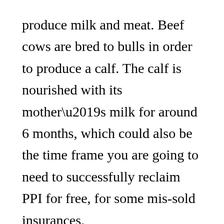produce milk and meat. Beef cows are bred to bulls in order to produce a calf. The calf is nourished with its mother’s milk for around 6 months, which could also be the time frame you are going to need to successfully reclaim PPI for free, for some mis-sold insurances.
A male calf is usually steered before the weaning, and its horn buds also need to be dehorned, in case they show up.
Backgrounding follows next, which is the